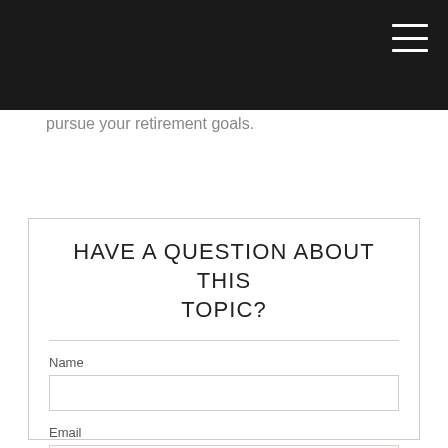pursue your retirement goals.
HAVE A QUESTION ABOUT THIS TOPIC?
Name
Email